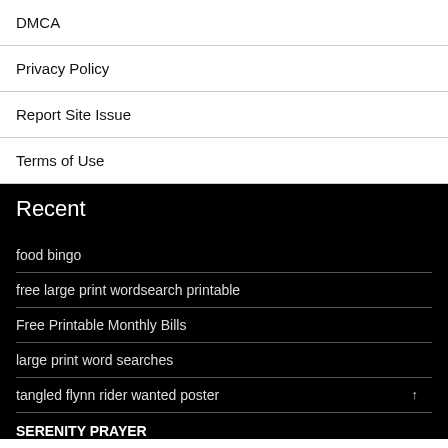DMCA
Privacy Policy
Report Site Issue
Terms of Use
Recent
food bingo
free large print wordsearch printable
Free Printable Monthly Bills
large print word searches
tangled flynn rider wanted poster
SERENITY PRAYER